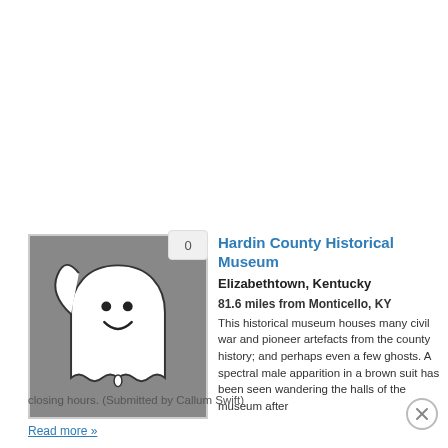[Figure (illustration): Ghost illustration — a friendly cartoon white ghost with a smiley face, set against a grey background square]
Hardin County Historical Museum
Elizabethtown, Kentucky
81.6 miles from Monticello, KY
This historical museum houses many civil war and pioneer artefacts from the county history; and perhaps even a few ghosts. A spectral male apparition in a brown suit has been seen wandering the halls of the museum after closing hours. (Submitted by Callum Swift)
Read more »